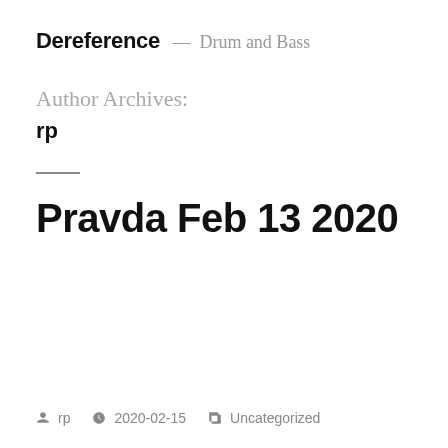Dereference — Drum and Bass
Author Archives:
rp
Pravda Feb 13 2020
rp  2020-02-15  Uncategorized